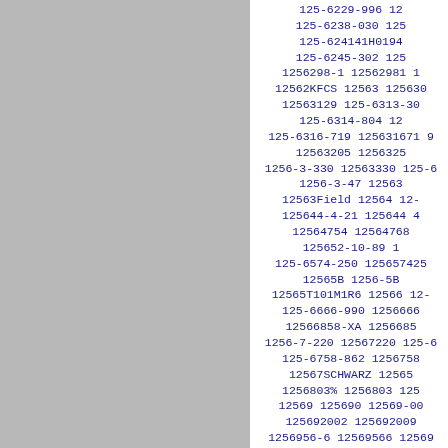125-6229-996 125-6238-030 125-624141H0194 125-6245-302 1256298-1 12562981 1 12562KFCS 12563 125630 12563129 125-6313-30 125-6314-804 12 125-6316-719 125631671 12563205 1256325 1256-3-330 12563330 125-6 1256-3-47 12563 12563Field 12564 12- 125644-4-21 125644 12564754 12564768 125652-10-89 1 125-6574-250 125657425 12565B 1256-5B 12565T101M1R6 12566 12- 125-6666-990 1256666 12566858-XA 1256685 1256-7-220 12567220 125-6 125-6758-862 1256758 12567SCHWARZ 12565 1256803% 1256803 125 12569 125690 12569-00 125692002 125692009 1256956-6 12569566 12569 1256A-10 1256A10 125 1256AP-12 1256AP12 125 1256C-12 1256C12 1 1-25-6-DCM 1256DCM 125